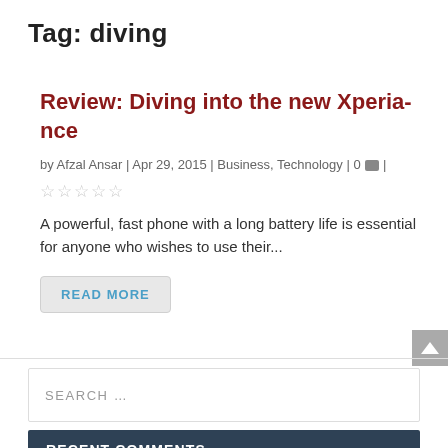Tag: diving
Review: Diving into the new Xperia-nce
by Afzal Ansar | Apr 29, 2015 | Business, Technology | 0 💬 |
★★★★★
A powerful, fast phone with a long battery life is essential for anyone who wishes to use their...
READ MORE
SEARCH ...
RECENT COMMENTS